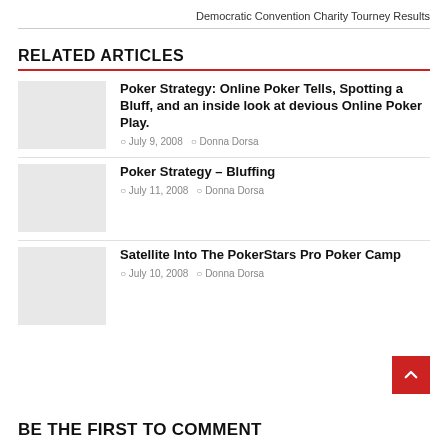Democratic Convention Charity Tourney Results
RELATED ARTICLES
Poker Strategy: Online Poker Tells, Spotting a Bluff, and an inside look at devious Online Poker Play. — July 9, 2008 — Donna Dorsa
Poker Strategy – Bluffing — July 11, 2008 — Donna Dorsa
Satellite Into The PokerStars Pro Poker Camp — July 10, 2008 — Donna Dorsa
BE THE FIRST TO COMMENT